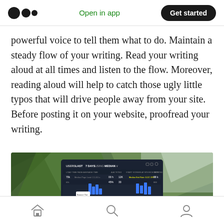Medium logo | Open in app | Get started
powerful voice to tell them what to do. Maintain a steady flow of your writing. Read your writing aloud at all times and listen to the flow. Moreover, reading aloud will help to catch those ugly little typos that will drive people away from your site. Before posting it on your website, proofread your writing.
[Figure (screenshot): Screenshot of a dark analytics dashboard showing 'USERS: LAST 7 DAYS USING MEDIAN' with bar charts and statistics, displayed on a laptop screen surrounded by green plant leaves in the background.]
Home | Search | Profile